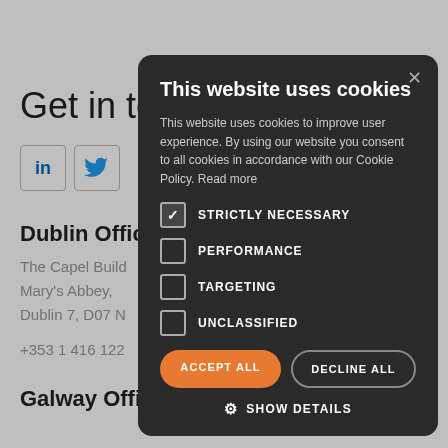Get in to
[Figure (illustration): LinkedIn and Twitter social media icons in bordered boxes]
Dublin Office
The Capel Build
Mary's Abbey,
Dublin 7, D07 N
+353 1 416 122
Galway Office
This website uses cookies
This website uses cookies to improve user experience. By using our website you consent to all cookies in accordance with our Cookie Policy. Read more
STRICTLY NECESSARY (checked)
PERFORMANCE
TARGETING
UNCLASSIFIED
ACCEPT ALL
DECLINE ALL
SHOW DETAILS